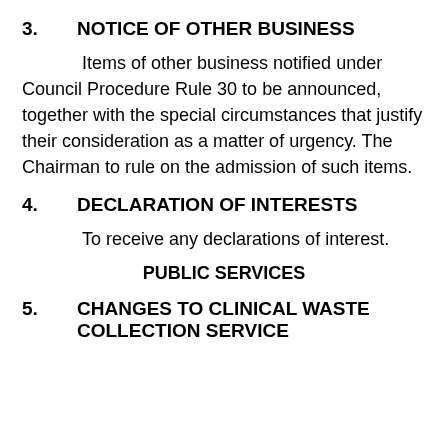3.         NOTICE OF OTHER BUSINESS
Items of other business notified under Council Procedure Rule 30 to be announced, together with the special circumstances that justify their consideration as a matter of urgency. The Chairman to rule on the admission of such items.
4.         DECLARATION OF INTERESTS
To receive any declarations of interest.
PUBLIC SERVICES
5.         CHANGES TO CLINICAL WASTE COLLECTION SERVICE